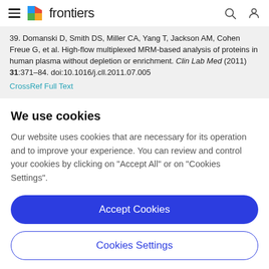frontiers
39. Domanski D, Smith DS, Miller CA, Yang T, Jackson AM, Cohen Freue G, et al. High-flow multiplexed MRM-based analysis of proteins in human plasma without depletion or enrichment. Clin Lab Med (2011) 31:371–84. doi:10.1016/j.cll.2011.07.005
CrossRef Full Text
We use cookies
Our website uses cookies that are necessary for its operation and to improve your experience. You can review and control your cookies by clicking on "Accept All" or on "Cookies Settings".
Accept Cookies
Cookies Settings